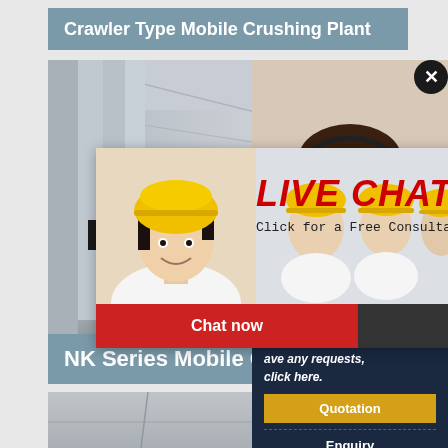Crawler Type Mobile Crushing Plant
[Figure (screenshot): Website screenshot showing a mobile crushing plant product page with a corridor/warehouse background image and an NK Series Mobile Crusher label]
[Figure (screenshot): Live Chat popup overlay with worker in hard hat, 'LIVE CHAT - Click for a Free Consultation' heading, Chat now and Chat later buttons]
[Figure (photo): Customer service representative with headset (woman) on the right side]
ave any requests, click here.
Quotation
Enquiry
limingjlmofen@sina.com
NK Series Mobile Crusher
[Figure (photo): Bottom image showing industrial/construction scene with red hard hat visible]